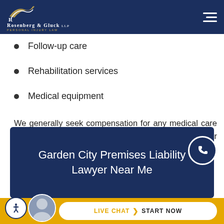Rosenberg & Gluck LLP Personal Injury Law
Follow-up care
Rehabilitation services
Medical equipment
We generally seek compensation for any medical care related to negligence. A lawsuit may also cover treatment for psychological injuries.
Garden City Premises Liability Lawyer Near Me
LIVE CHAT START NOW